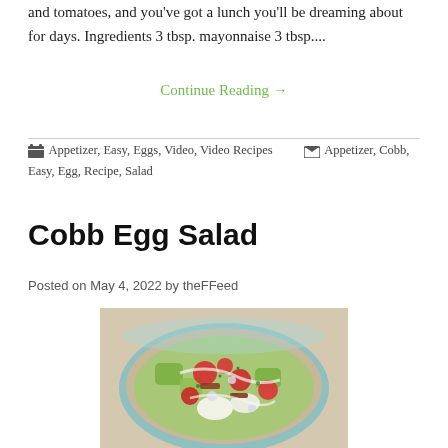and tomatoes, and you've got a lunch you'll be dreaming about for days. Ingredients 3 tbsp. mayonnaise 3 tbsp....
Continue Reading →
Appetizer, Easy, Eggs, Video, Video Recipes    Appetizer, Cobb, Easy, Egg, Recipe, Salad
Cobb Egg Salad
Posted on May 4, 2022 by theFFeed
[Figure (photo): A bowl of Cobb Egg Salad with cherry tomatoes, avocado chunks, bacon, eggs, and blue cheese crumbles with dressing]